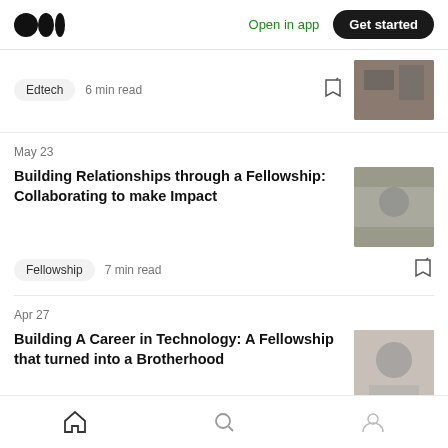Medium logo | Open in app | Get started
Edtech   6 min read
May 23
Building Relationships through a Fellowship: Collaborating to make Impact
Fellowship   7 min read
Apr 27
Building A Career in Technology: A Fellowship that turned into a Brotherhood
Internships   7 min read